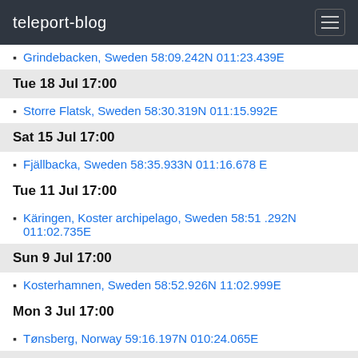teleport-blog
Grindebacken, Sweden 58:09.242N 011:23.439E
Tue 18 Jul 17:00
Storre Flatsk, Sweden 58:30.319N 011:15.992E
Sat 15 Jul 17:00
Fjällbacka, Sweden 58:35.933N 011:16.678 E
Tue 11 Jul 17:00
Käringen, Koster archipelago, Sweden 58:51 .292N 011:02.735E
Sun 9 Jul 17:00
Kosterhamnen, Sweden 58:52.926N 11:02.999E
Mon 3 Jul 17:00
Tønsberg, Norway 59:16.197N 010:24.065E
Sat 1 Jul 17:00
Sandspollen, Norway 59:39.924N 010:34.757E
Jun 2017
Thu 29 Jun 11:00